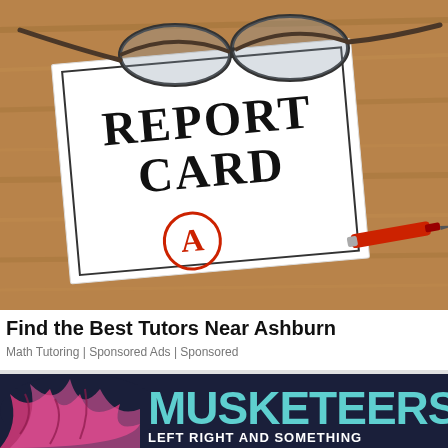[Figure (photo): A report card on a wooden table with glasses resting on top and a red marker pen to the right. The report card has 'REPORT CARD' written in large serif font and shows a circled red letter A grade.]
Find the Best Tutors Near Ashburn
Math Tutoring | Sponsored Ads | Sponsored
[Figure (illustration): Dark navy background banner with 'MUSKETEERS' in large cyan/teal block letters, 'LEFT RIGHT AND SOMETHING' below in white uppercase letters, and a pink/magenta illustrated animal (possibly a wolf or bear) on the left side.]